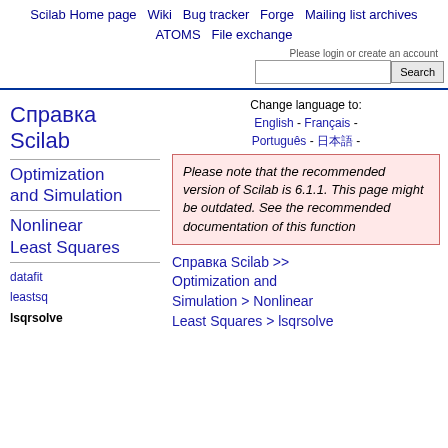Scilab Home page  Wiki  Bug tracker  Forge  Mailing list archives  ATOMS  File exchange
Please login or create an account
Scilab Online Help  [Search]
Change language to: English - Français - Português - 日本語 -
Справка Scilab
Optimization and Simulation
Nonlinear Least Squares
datafit
leastsq
lsqrsolve
Please note that the recommended version of Scilab is 6.1.1. This page might be outdated. See the recommended documentation of this function
Справка Scilab >> Optimization and Simulation > Nonlinear Least Squares > lsqrsolve